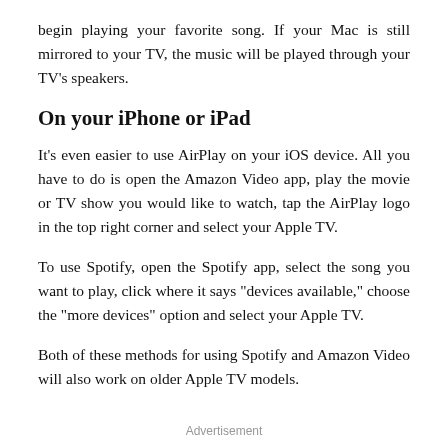begin playing your favorite song. If your Mac is still mirrored to your TV, the music will be played through your TV's speakers.
On your iPhone or iPad
It's even easier to use AirPlay on your iOS device. All you have to do is open the Amazon Video app, play the movie or TV show you would like to watch, tap the AirPlay logo in the top right corner and select your Apple TV.
To use Spotify, open the Spotify app, select the song you want to play, click where it says "devices available," choose the "more devices" option and select your Apple TV.
Both of these methods for using Spotify and Amazon Video will also work on older Apple TV models.
Advertisement